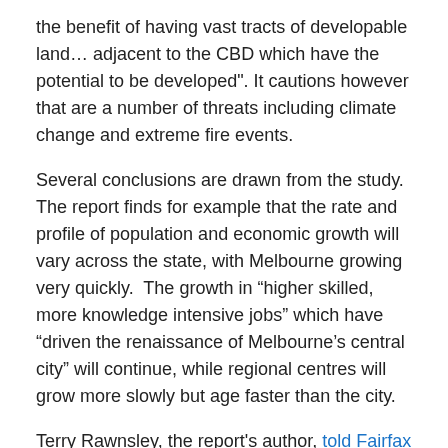the benefit of having vast tracts of developable land… adjacent to the CBD which have the potential to be developed". It cautions however that are a number of threats including climate change and extreme fire events.
Several conclusions are drawn from the study. The report finds for example that the rate and profile of population and economic growth will vary across the state, with Melbourne growing very quickly.  The growth in “higher skilled, more knowledge intensive jobs” which have “driven the renaissance of Melbourne’s central city” will continue, while regional centres will grow more slowly but age faster than the city.
Terry Rawnsley, the report’s author, told Fairfax media that Victoria needed to “think deeply” about why it built infrastructure in the first place.